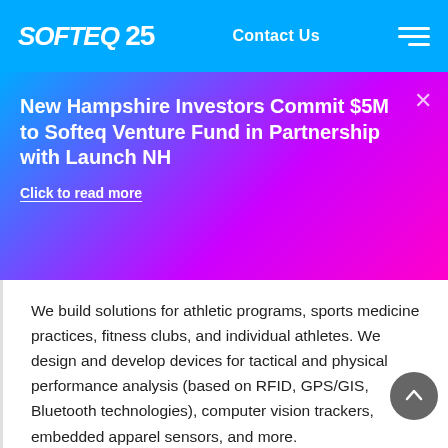SOFTEQ 25 | Contact Us
New Hampshire Investors Commit $5M to Softeq Venture Fund in Partnership with Launch NH
Click to read more
We build solutions for athletic programs, sports medicine practices, fitness clubs, and individual athletes. We design and develop devices for tactical and physical performance analysis (based on RFID, GPS/GIS, Bluetooth technologies), computer vision trackers, embedded apparel sensors, and more.